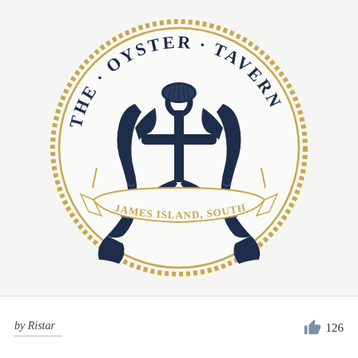[Figure (logo): Circular logo for The Oyster Tavern, James Island, South Carolina. Features two mermaids flanking a central anchor with an oyster shell on top. Text 'THE · OYSTER · TAVERN' arcs along the top in dark navy serif letters. A banner at the bottom reads 'JAMES ISLAND, SOUTH CAROLINA' in gold. The border is a gold rope/dotted circle on a white background.]
by Ristar
126